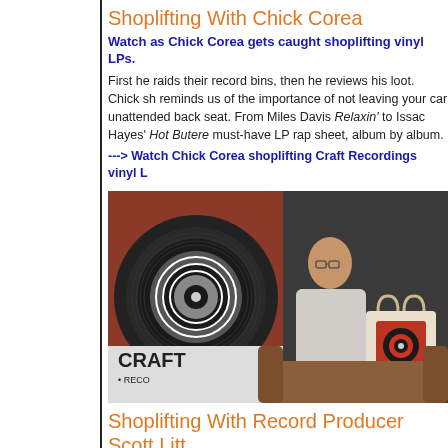Shoplifting With Chick Corea
Watch as Chick Corea gets caught shoplifting vinyl LPs.
First he raids their record bins, then he reviews his loot. Chick sh reminds us of the importance of not leaving your car unattended back seat. From Miles Davis Relaxin' to Issac Hayes' Hot Butere must-have LP rap sheet, album by album.
---> Watch Chick Corea shoplifting Craft Recordings vinyl L
[Figure (photo): Man holding a Craft Recordings tote bag, seated in front of a large Craft Recordings vinyl record logo backdrop]
Shoplifting With Record Producer Scott Litt